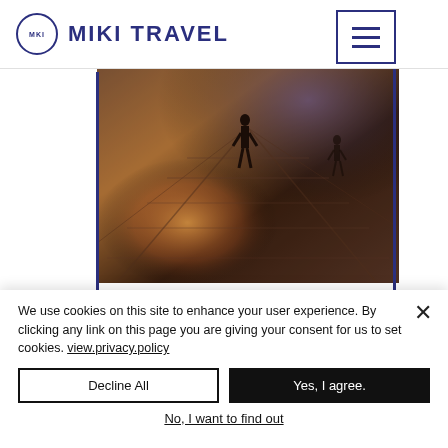MIKI TRAVEL
[Figure (photo): Aerial/ground view of a wooden boardwalk or pier at sunset/dusk with silhouettes of people walking, warm amber and purple tones]
MONT SAINT MICHEL
We use cookies on this site to enhance your user experience. By clicking any link on this page you are giving your consent for us to set cookies. view.privacy.policy
Decline All
Yes, I agree.
No, I want to find out